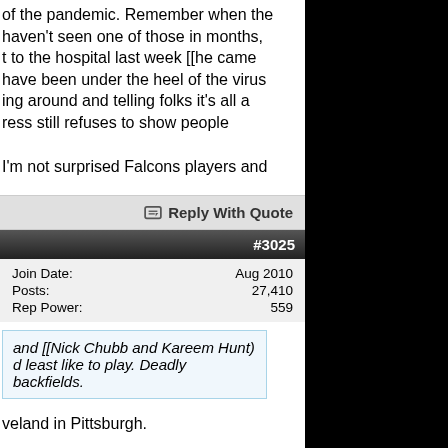of the pandemic. Remember when the haven't seen one of those in months, t to the hospital last week [[he came have been under the heel of the virus ing around and telling folks it's all a ress still refuses to show people
I'm not surprised Falcons players and
Reply With Quote
#3025
| Join Date: | Aug 2010 |
| Posts: | 27,410 |
| Rep Power: | 559 |
and [[Nick Chubb and Kareem Hunt) d least like to play. Deadly backfields.
veland in Pittsburgh.